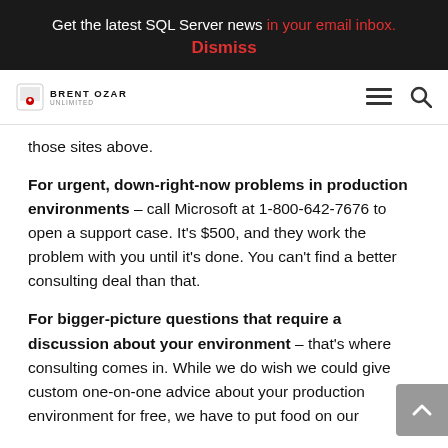Get the latest SQL Server news in your email inbox.
Dismiss
[Figure (logo): Brent Ozar Unlimited logo with navigation icons]
those sites above.
For urgent, down-right-now problems in production environments – call Microsoft at 1-800-642-7676 to open a support case. It's $500, and they work the problem with you until it's done. You can't find a better consulting deal than that.
For bigger-picture questions that require a discussion about your environment – that's where consulting comes in. While we do wish we could give custom one-on-one advice about your production environment for free, we have to put food on our